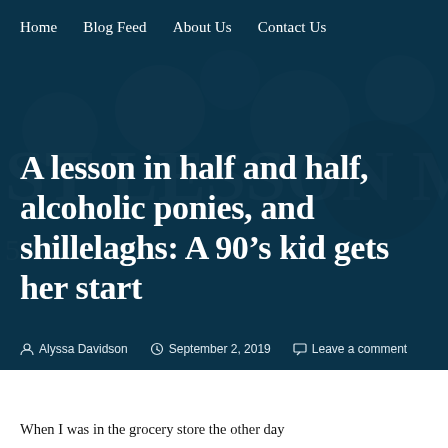Home   Blog Feed   About Us   Contact Us
A lesson in half and half, alcoholic ponies, and shillelaghs: A 90’s kid gets her start
Alyssa Davidson   September 2, 2019   Leave a comment
When I was in the grocery store the other day